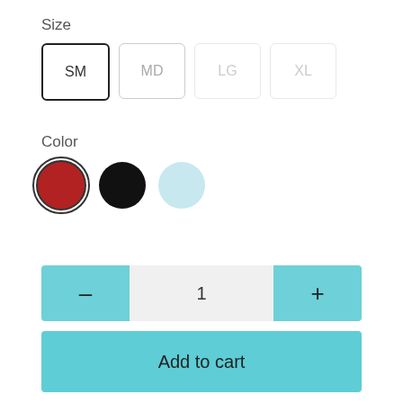Size
SM  MD  LG  XL
Color
[Figure (other): Three color swatch circles: red (selected, with border), black, and light blue]
— 1 +
Add to cart
The Women's Three Season Short-length Storm Jacket is versatile enough for fishing, camping, or trips to town on soggy days. A plush fleece lining adds warmth when days get a little colder, and the water-resistant